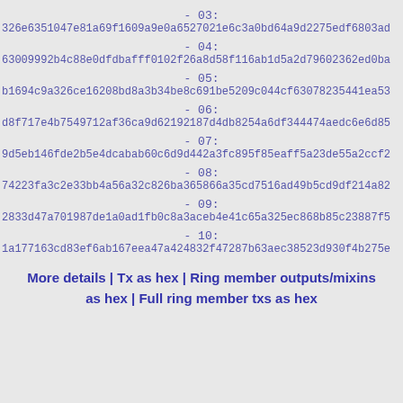- 03:
326e6351047e81a69f1609a9e0a6527021e6c3a0bd64a9d2275edf6803ad
- 04:
63009992b4c88e0dfdbafff0102f26a8d58f116ab1d5a2d79602362ed0ba
- 05:
b1694c9a326ce16208bd8a3b34be8c691be5209c044cf63078235441ea53
- 06:
d8f717e4b7549712af36ca9d62192187d4db8254a6df344474aedc6e6d85
- 07:
9d5eb146fde2b5e4dcabab60c6d9d442a3fc895f85eaff5a23de55a2ccf2
- 08:
74223fa3c2e33bb4a56a32c826ba365866a35cd7516ad49b5cd9df214a82
- 09:
2833d47a701987de1a0ad1fb0c8a3aceb4e41c65a325ec868b85c23887f5
- 10:
1a177163cd83ef6ab167eea47a424832f47287b63aec38523d930f4b275e
More details | Tx as hex | Ring member outputs/mixins as hex | Full ring member txs as hex